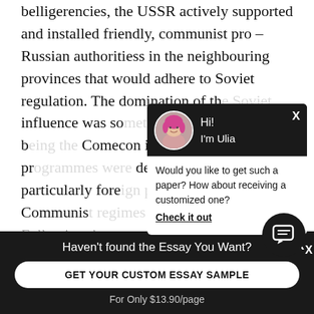belligerencies, the USSR actively supported and installed friendly, communist pro – Russian authoritiess in the neighbouring provinces that would adhere to Soviet regulation. The domination of th... influence was so... constitution of b... Comecon in 194... Both of these pr... designed to org... particularly fore... pro – Communis... Eastern Europe. Following th...
[Figure (screenshot): Chat popup overlay with avatar of a woman with pink hair, greeting 'Hi! I'm Ulia', with message 'Would you like to get such a paper? How about receiving a customized one? Check it out' and a close X button.]
[Figure (screenshot): Chat icon button (dark circle with message icon) and X close button.]
Haven't found the Essay You Want?
GET YOUR CUSTOM ESSAY SAMPLE
For Only $13.90/page